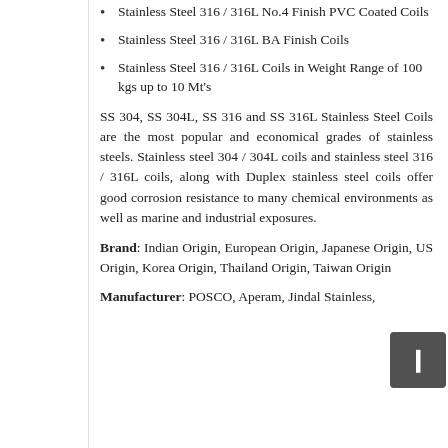Stainless Steel 316 / 316L No.4 Finish PVC Coated Coils
Stainless Steel 316 / 316L BA Finish Coils
Stainless Steel 316 / 316L Coils in Weight Range of 100 kgs up to 10 Mt's
SS 304, SS 304L, SS 316 and SS 316L Stainless Steel Coils are the most popular and economical grades of stainless steels. Stainless steel 304 / 304L coils and stainless steel 316 / 316L coils, along with Duplex stainless steel coils offer good corrosion resistance to many chemical environments as well as marine and industrial exposures.
Brand: Indian Origin, European Origin, Japanese Origin, US Origin, Korea Origin, Thailand Origin, Taiwan Origin
Manufacturer: POSCO, Aperam, Jindal Stainless, DKS Korea, Thyssenkrupp